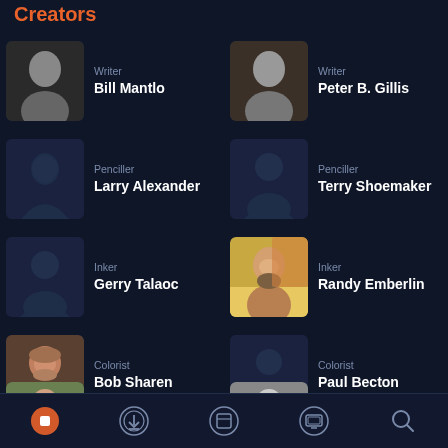Creators
Writer
Bill Mantlo
Writer
Peter B. Gillis
Penciller
Larry Alexander
Penciller
Terry Shoemaker
Inker
Gerry Talaoc
Inker
Randy Emberlin
Colorist
Bob Sharen
Colorist
Paul Becton
Letterer
Janice Chiang
Letterer
Ken Bruzenak
Navigation bar with Home, Download, Library, Reading, Search icons